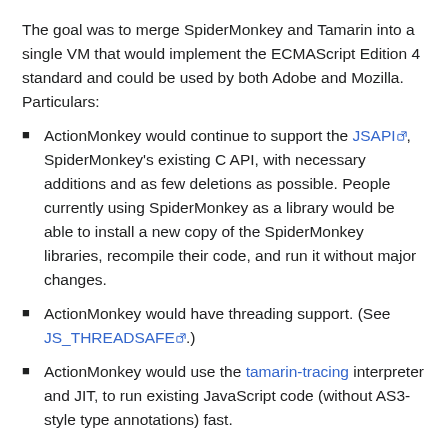The goal was to merge SpiderMonkey and Tamarin into a single VM that would implement the ECMAScript Edition 4 standard and could be used by both Adobe and Mozilla. Particulars:
ActionMonkey would continue to support the JSAPI, SpiderMonkey's existing C API, with necessary additions and as few deletions as possible. People currently using SpiderMonkey as a library would be able to install a new copy of the SpiderMonkey libraries, recompile their code, and run it without major changes.
ActionMonkey would have threading support. (See JS_THREADSAFE.)
ActionMonkey would use the tamarin-tracing interpreter and JIT, to run existing JavaScript code (without AS3-style type annotations) fast.